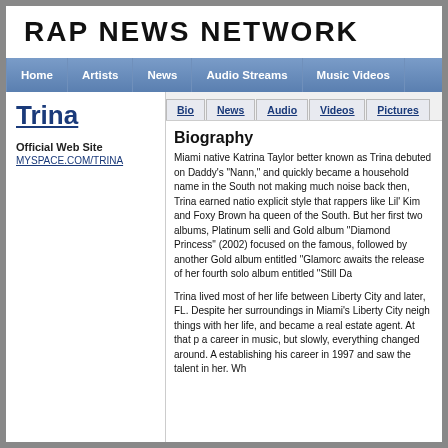RAP NEWS NETWORK
Home | Artists | News | Audio Streams | Music Videos
Trina
Official Web Site
MYSPACE.COM/TRINA
Bio | News | Audio | Videos | Pictures
Biography
Miami native Katrina Taylor better known as Trina debuted on Daddy's "Nann," and quickly became a household name in the South not making much noise back then, Trina earned nationally explicit style that rappers like Lil' Kim and Foxy Brown had queen of the South. But her first two albums, Platinum selling and Gold album "Diamond Princess" (2002) focused on the famous, followed by another Gold album entitled "Glamorc... awaits the release of her fourth solo album entitled "Still Da
Trina lived most of her life between Liberty City and later, FL. Despite her surroundings in Miami's Liberty City neigh things with her life, and became a real estate agent. At that p a career in music, but slowly, everything changed around. A establishing his career in 1997 and saw the talent in her. Wh